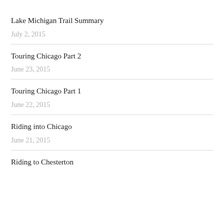Lake Michigan Trail Summary
July 2, 2015
Touring Chicago Part 2
June 23, 2015
Touring Chicago Part 1
June 22, 2015
Riding into Chicago
June 21, 2015
Riding to Chesterton